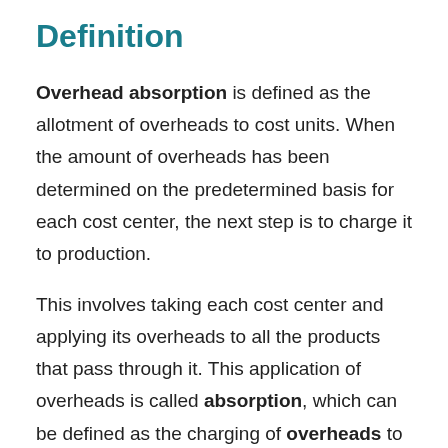Overhead Absorption Definition
Overhead absorption is defined as the allotment of overheads to cost units. When the amount of overheads has been determined on the predetermined basis for each cost center, the next step is to charge it to production.
This involves taking each cost center and applying its overheads to all the products that pass through it. This application of overheads is called absorption, which can be defined as the charging of overheads to production.
All products, jobs, or services pass through one